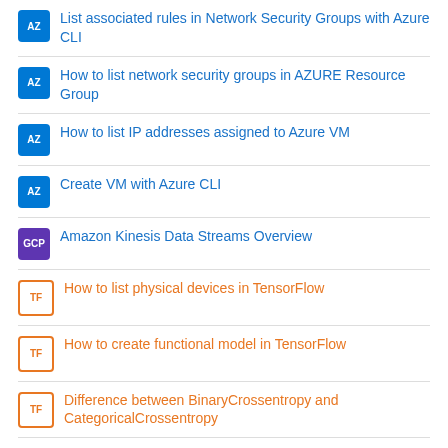List associated rules in Network Security Groups with Azure CLI
How to list network security groups in AZURE Resource Group
How to list IP addresses assigned to Azure VM
Create VM with Azure CLI
Amazon Kinesis Data Streams Overview
How to list physical devices in TensorFlow
How to create functional model in TensorFlow
Difference between BinaryCrossentropy and CategoricalCrossentropy
How to Flatten layer input in TensorFlow
Similar Articles